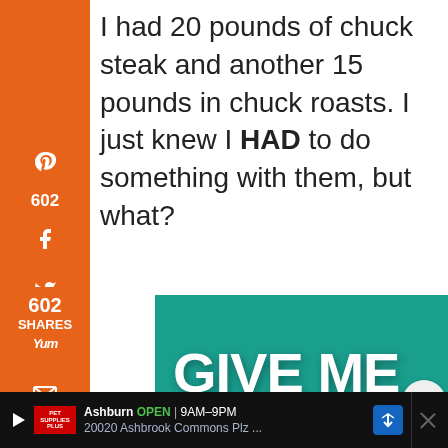I had 20 pounds of chuck steak and another 15 pounds in chuck roasts. I just knew I HAD to do something with them, but what?
[Figure (screenshot): Orange social sharing sidebar with Pinterest (602 saves), Facebook, Twitter, Yummly, Email, and Print icons]
[Figure (screenshot): Advertisement banner with teal background showing text 'GIVE ME THOSE PUPPY' with heart icons and a dog photo, for Pet Supplies Plus]
[Figure (screenshot): Bottom advertisement bar: Pet Supplies Plus - Ashburn OPEN 9AM-9PM, 20020 Ashbrook Commons Plz]